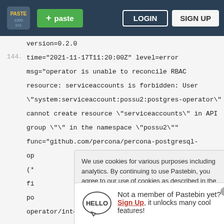Pastebin navigation bar with logo, paste button, login and sign up
version=0.2.0
144. time="2021-11-17T11:20:00Z" level=error
msg="operator is unable to reconcile RBAC resource: serviceaccounts is forbidden: User \"system:serviceaccount:possu2:postgres-operator\" cannot create resource \"serviceaccounts\" in API group \"\" in the namespace \"possu2\""
func="github.com/percona/percona-postgresql-op
(*
fi
po
operator/internal/controller/manager/rbac.go:132"
ve
145. ti
msg operator is unable to reconcile RBAC resource: serviceaccounts is forbidden: User
We use cookies for various purposes including analytics. By continuing to use Pastebin, you agree to our use of cookies as described in the Cookies Policy. OK, I Understand
Not a member of Pastebin yet? Sign Up, it unlocks many cool features!